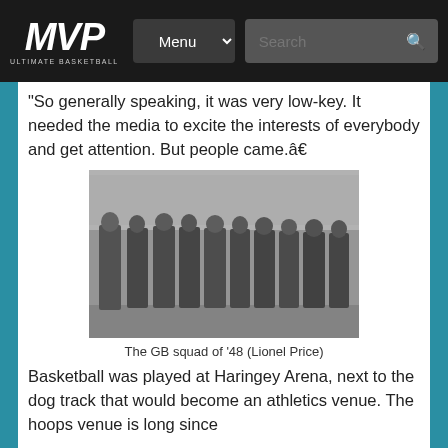MVP Ultimate Basketball — Menu | Search
“So generally speaking, it was very low-key. It needed the media to excite the interests of everybody and get attention. But people came.â€
[Figure (photo): Black and white photograph of the GB basketball squad of 1948 standing in a line on a court, credited to Lionel Price]
The GB squad of ’48 (Lionel Price)
Basketball was played at Haringey Arena, next to the dog track that would become an athletics venue. The hoops venue is long since demolished, and now what competition is...